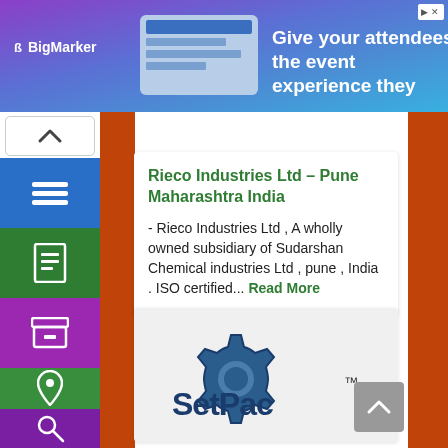[Figure (screenshot): BigMarker advertisement banner with purple-blue gradient background. Text reads: Give your attendees the event experience they deserve.]
[Figure (infographic): Left sidebar navigation with blue hamburger menu button, green document icon, purple archive icon, green location pin icon, and purple search icon. Chevron/up arrow at top.]
Rieco Industries Ltd – Pune Maharashtra India
- Rieco Industries Ltd , A wholly owned subsidiary of Sudarshan Chemical industries Ltd , pune , India . ISO certified... Read More
[Figure (logo): SetPac logo with blue and dark gear/cog design and trademark symbol]